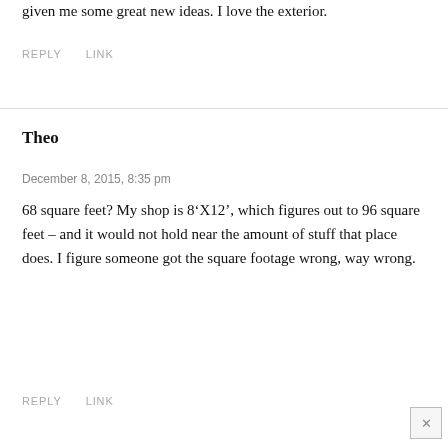given me some great new ideas. I love the exterior.
REPLY    LINK
Theo
December 8, 2015, 8:35 pm
68 square feet? My shop is 8‘X12’, which figures out to 96 square feet – and it would not hold near the amount of stuff that place does. I figure someone got the square footage wrong, way wrong.
REPLY    LINK